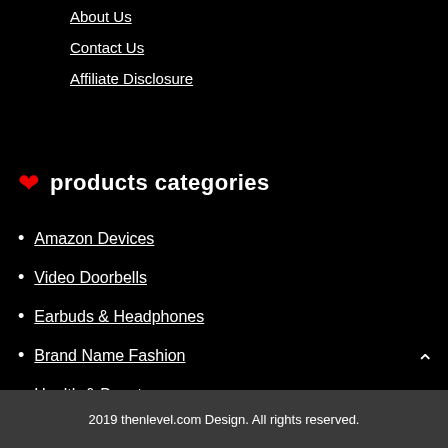About Us
Contact Us
Affiliate Disclosure
❤ products categories
Amazon Devices
Video Doorbells
Earbuds & Headphones
Brand Name Fashion
Health & Beauty
2019 thenlevel.com Design. All rights reserved.